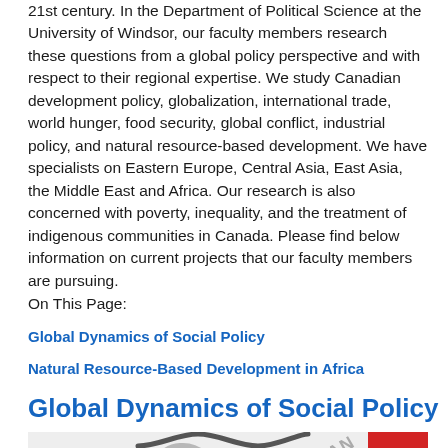21st century. In the Department of Political Science at the University of Windsor, our faculty members research these questions from a global policy perspective and with respect to their regional expertise. We study Canadian development policy, globalization, international trade, world hunger, food security, global conflict, industrial policy, and natural resource-based development. We have specialists on Eastern Europe, Central Asia, East Asia, the Middle East and Africa. Our research is also concerned with poverty, inequality, and the treatment of indigenous communities in Canada. Please find below information on current projects that our faculty members are pursuing.
On This Page:
Global Dynamics of Social Policy
Natural Resource-Based Development in Africa
Global Dynamics of Social Policy
[Figure (photo): Partial view of an image associated with Global Dynamics of Social Policy, showing a dark S-shaped graphic element, diagonal text, and a red vertical band on the right side, on a light grey background.]